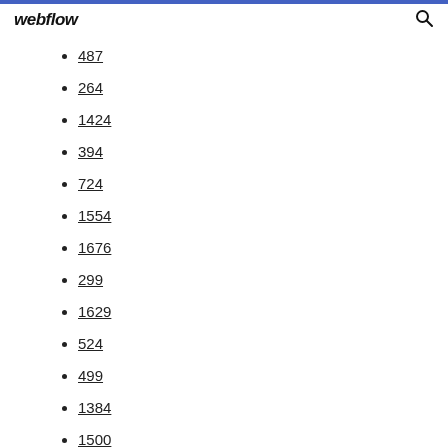webflow
487
264
1424
394
724
1554
1676
299
1629
524
499
1384
1500+